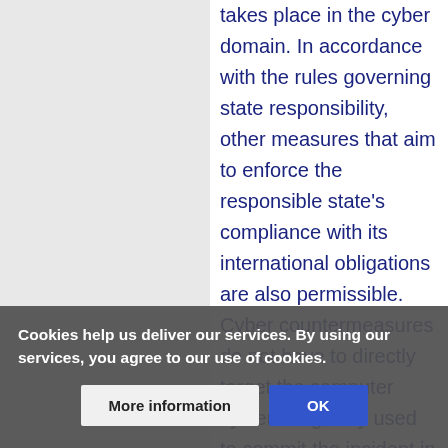takes place in the cyber domain. In accordance with the rules governing state responsibility, other measures that aim to enforce the responsible state's compliance with its international obligations are also permissible. Cyber countermeasures do not have to directly target the computer system originally used to commit the incident in question; injured states can also take countermeasures in other areas, as long as they are aimed at the responsible state and its conduct
Cookies help us deliver our services. By using our services, you agree to our use of cookies.